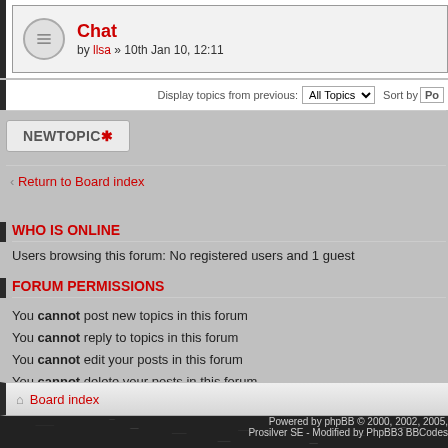Chat by llsa » 10th Jan 10, 12:11
Display topics from previous: All Topics   Sort by Po
NEWTOPIC*
< Return to Board index
WHO IS ONLINE
Users browsing this forum: No registered users and 1 guest
FORUM PERMISSIONS
You cannot post new topics in this forum
You cannot reply to topics in this forum
You cannot edit your posts in this forum
You cannot delete your posts in this forum
Board index
Powered by phpBB © 2000, 2002, 2005, Prosilver SE - Modified by PhpBB3 BBCodes